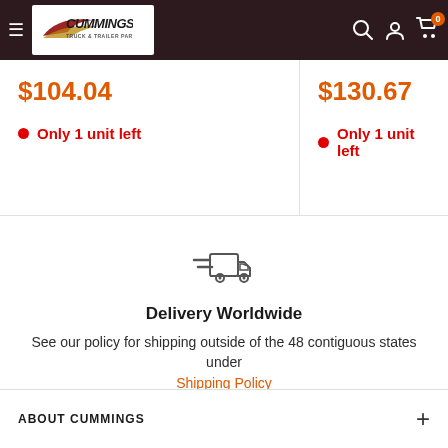[Figure (logo): Cummings Truck & Trailer Parts logo in header navigation bar with dark maroon background, hamburger menu, search icon, account icon, and cart icon with 0 badge]
$104.04
Only 1 unit left
$130.67
Only 1 unit left
[Figure (illustration): Delivery truck icon with speed lines]
Delivery Worldwide
See our policy for shipping outside of the 48 contiguous states under Shipping Policy
ABOUT CUMMINGS